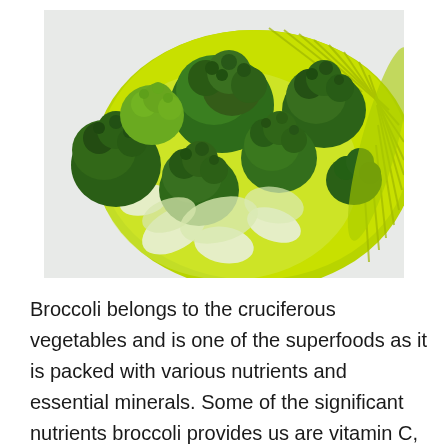[Figure (photo): Fresh broccoli florets in a bright yellow-green colander/strainer bowl, viewed from above. The broccoli pieces are deep green and light green, filling the bowl against a light grey-white background.]
Broccoli belongs to the cruciferous vegetables and is one of the superfoods as it is packed with various nutrients and essential minerals. Some of the significant nutrients broccoli provides us are vitamin C, K, and B. It is also loaded with potassium, iron, antioxidants, and